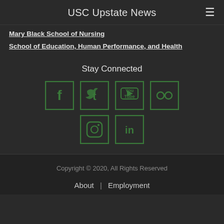USC Upstate News
Mary Black School of Nursing
School of Education, Human Performance, and Health
Stay Connected
[Figure (infographic): Six social media icons in green outlined squares: Facebook, Twitter, YouTube, Flickr (top row), Instagram, LinkedIn (bottom row)]
Copyright © 2020, All Rights Reserved
About  |  Employment